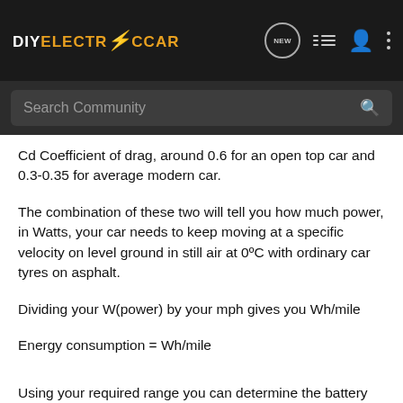DIYELECTRICCAR — navigation bar with NEW, list, user, and dots icons
Search Community
Cd Coefficient of drag, around 0.6 for an open top car and 0.3-0.35 for average modern car.
The combination of these two will tell you how much power, in Watts, your car needs to keep moving at a specific velocity on level ground in still air at 0ºC with ordinary car tyres on asphalt.
Dividing your W(power) by your mph gives you Wh/mile
Energy consumption = Wh/mile
Using your required range you can determine the battery capacity.